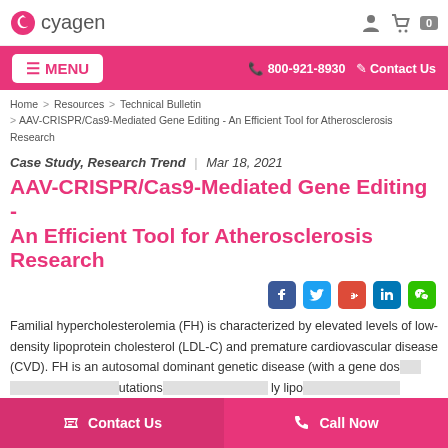[Figure (logo): Cyagen logo with pink swirl icon and grey text]
MENU | 800-921-8930 | Contact Us
Home > Resources > Technical Bulletin > AAV-CRISPR/Cas9-Mediated Gene Editing - An Efficient Tool for Atherosclerosis Research
Case Study, Research Trend  |  Mar 18, 2021
AAV-CRISPR/Cas9-Mediated Gene Editing - An Efficient Tool for Atherosclerosis Research
Familial hypercholesterolemia (FH) is characterized by elevated levels of low-density lipoprotein cholesterol (LDL-C) and premature cardiovascular disease (CVD). FH is an autosomal dominant genetic disease (with a gene dosage effect) caused by mutations in genes encoding lipoprotein receptors, apolipoprotein B (ApoB), or proprotein convertase subtilisin/kexin type 9, converting enzyme 9 (PCSK9). Around 90% of FH is caused by LDLR
Contact Us | Call Now